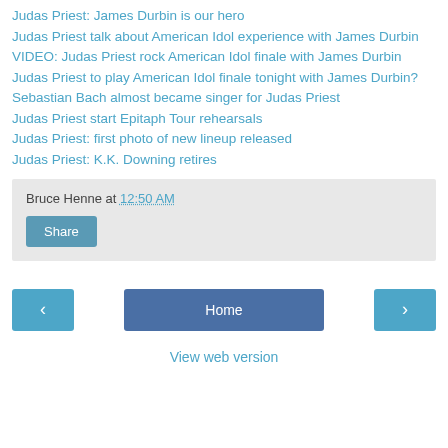Judas Priest: James Durbin is our hero
Judas Priest talk about American Idol experience with James Durbin
VIDEO: Judas Priest rock American Idol finale with James Durbin
Judas Priest to play American Idol finale tonight with James Durbin?
Sebastian Bach almost became singer for Judas Priest
Judas Priest start Epitaph Tour rehearsals
Judas Priest: first photo of new lineup released
Judas Priest: K.K. Downing retires
Bruce Henne at 12:50 AM
Share
Home
View web version